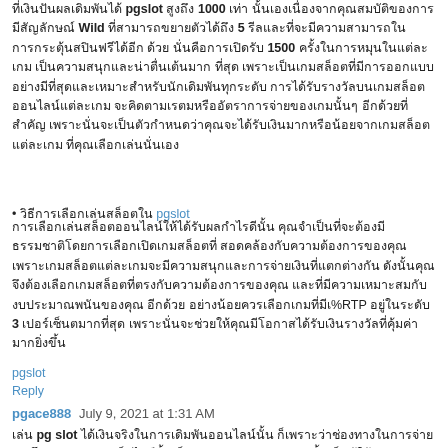pgslot 1000 Wild 5 1500
• pgslot
3 pgslot
pgslot
Reply
pgace888 July 9, 2021 at 1:31 AM
pg slot pg slot